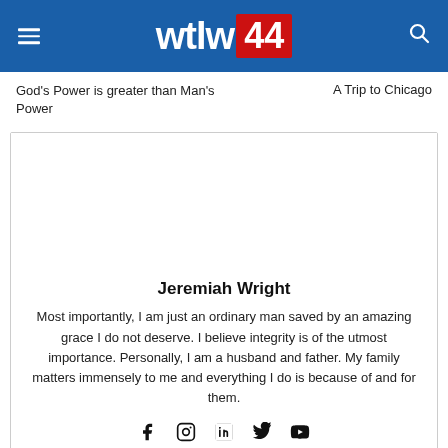wtlw 44
God's Power is greater than Man's Power
A Trip to Chicago
Jeremiah Wright
Most importantly, I am just an ordinary man saved by an amazing grace I do not deserve. I believe integrity is of the utmost importance. Personally, I am a husband and father. My family matters immensely to me and everything I do is because of and for them.